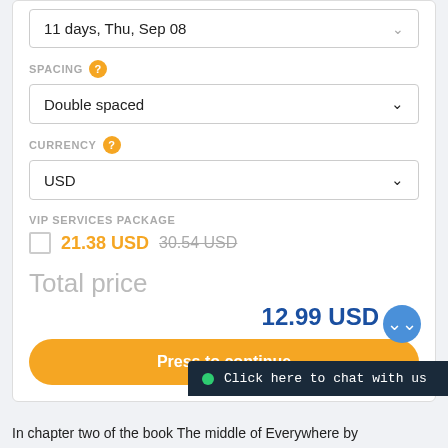11 days, Thu, Sep 08
SPACING
Double spaced
CURRENCY
USD
VIP SERVICES PACKAGE
21.38 USD  30.54 USD
Total price
12.99 USD
Press to continue
Click here to chat with us
In chapter two of the book The middle of Everywhere by